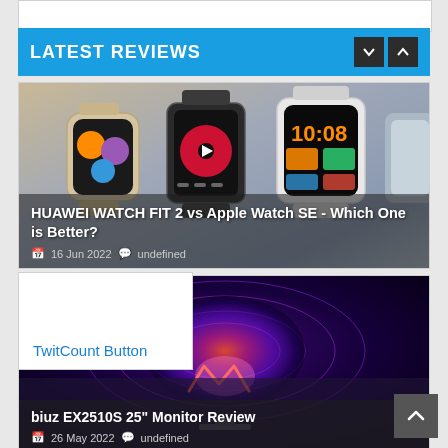LATEST REVIEWS
[Figure (photo): Photo of multiple smartwatches including Huawei Watch Fit 2 and Apple Watch SE displayed fan-like]
HUAWEI WATCH FIT 2 vs Apple Watch SE - Which One is Better?
📅 16 Jun 2022 💬 undefined
[Figure (photo): BenQ monitor product photo showing BenQ Mobiuz EX2510S 25" Gaming Monitor with colorful background]
biuz EX2510S 25" Monitor Review
📅 26 May 2022 💬 undefined
TwitCount Button